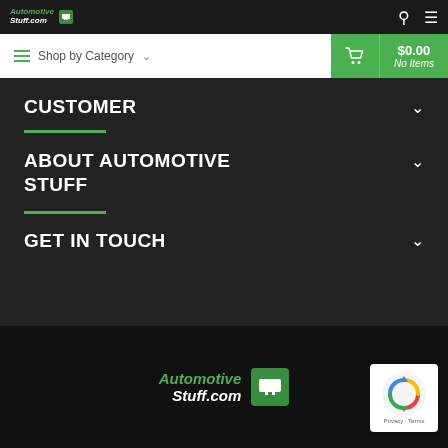AutomotiveStuff.com logo, search icon, menu icon
Shop by Category
$0.00 No Items
CUSTOMER
ABOUT AUTOMOTIVE STUFF
GET IN TOUCH
AutomotiveStuff.com